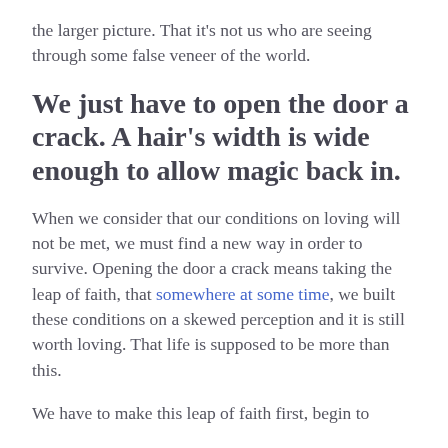the larger picture. That it's not us who are seeing through some false veneer of the world.
We just have to open the door a crack. A hair's width is wide enough to allow magic back in.
When we consider that our conditions on loving will not be met, we must find a new way in order to survive. Opening the door a crack means taking the leap of faith, that somewhere at some time, we built these conditions on a skewed perception and it is still worth loving. That life is supposed to be more than this.
We have to make this leap of faith first, begin to